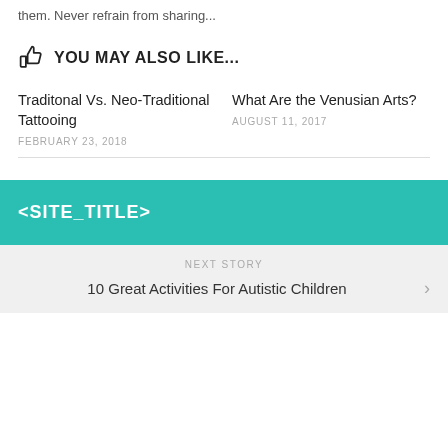them. Never refrain from sharing...
YOU MAY ALSO LIKE...
Traditonal Vs. Neo-Traditional Tattooing
FEBRUARY 23, 2018
What Are the Venusian Arts?
AUGUST 11, 2017
<SITE_TITLE>
NEXT STORY
10 Great Activities For Autistic Children